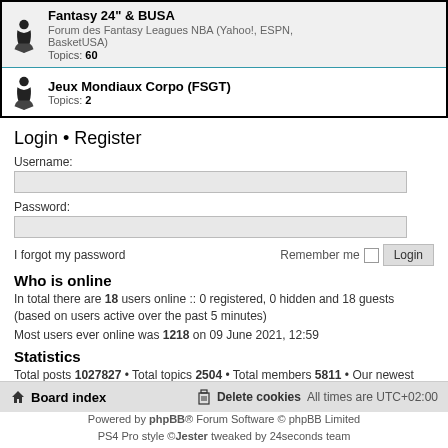| Fantasy 24" & BUSA | Forum des Fantasy Leagues NBA (Yahoo!, ESPN, BasketUSA) | Topics: 60 |
| Jeux Mondiaux Corpo (FSGT) |  | Topics: 2 |
Login • Register
Username:
Password:
I forgot my password    Remember me  Login
Who is online
In total there are 18 users online :: 0 registered, 0 hidden and 18 guests (based on users active over the past 5 minutes)
Most users ever online was 1218 on 09 June 2021, 12:59
Statistics
Total posts 1027827 • Total topics 2504 • Total members 5811 • Our newest member Soos22
Board index    Delete cookies    All times are UTC+02:00
Powered by phpBB® Forum Software © phpBB Limited
PS4 Pro style ©Jester tweaked by 24seconds team